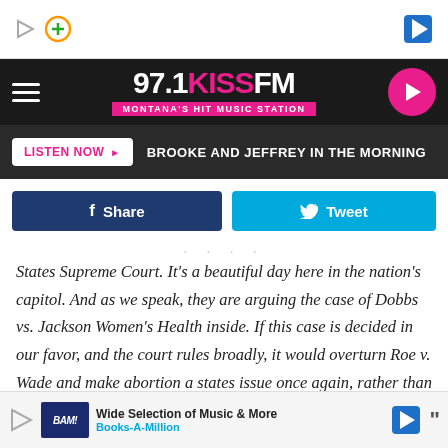[Figure (screenshot): Top browser navigation bar with play and plus icons on left, navigation arrow on right]
[Figure (logo): 97.1 KISS FM Montana's Hit Music Station logo on dark header band with hamburger menu and pink play button]
LISTEN NOW ▶  BROOKE AND JEFFREY IN THE MORNING
f Share    Tweet
States Supreme Court. It's a beautiful day here in the nation's capitol.  And as we speak, they are arguing the case of Dobbs vs. Jackson Women's Health inside. If this case is decided in our favor, and the court rules broadly, it would overturn Roe v. Wade and make abortion a states issue once again, rather than a federal issue the way it has been for the last
49  Wide Selection of Music & More  Books-A-Million